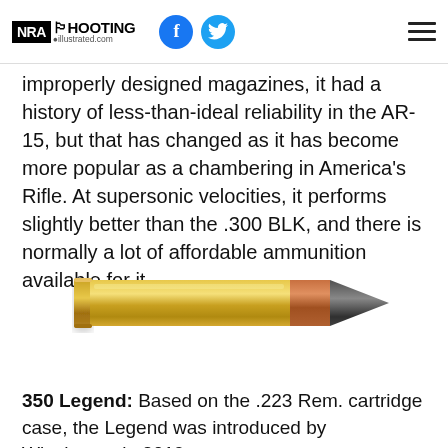NRA Shooting Illustrated
improperly designed magazines, it had a history of less-than-ideal reliability in the AR-15, but that has changed as it has become more popular as a chambering in America's Rifle. At supersonic velocities, it performs slightly better than the .300 BLK, and there is normally a lot of affordable ammunition available for it.
[Figure (photo): A brass rifle cartridge (bullet) shown horizontally against a white background. The cartridge has a golden brass casing and a copper-jacketed pointed projectile tip.]
350 Legend: Based on the .223 Rem. cartridge case, the Legend was introduced by Winchester in 2019